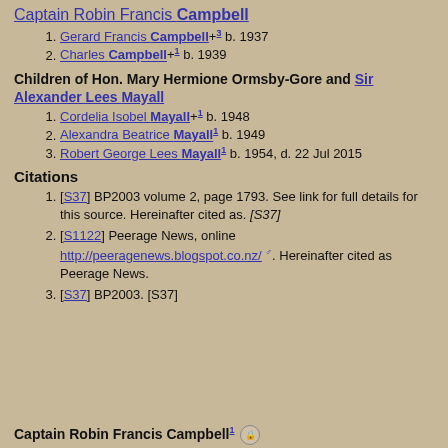Captain Robin Francis Campbell
Gerard Francis Campbell+3 b. 1937
Charles Campbell+1 b. 1939
Children of Hon. Mary Hermione Ormsby-Gore and Sir Alexander Lees Mayall
Cordelia Isobel Mayall+1 b. 1948
Alexandra Beatrice Mayall1 b. 1949
Robert George Lees Mayall1 b. 1954, d. 22 Jul 2015
Citations
[S37] BP2003 volume 2, page 1793. See link for full details for this source. Hereinafter cited as. [S37]
[S1122] Peerage News, online http://peeragenews.blogspot.co.nz/ . Hereinafter cited as Peerage News.
[S37] BP2003. [S37]
Captain Robin Francis Campbell1